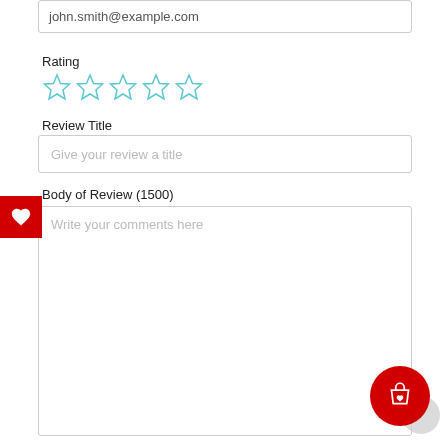john.smith@example.com
Rating
[Figure (other): Five empty star rating icons in teal/cyan outline]
Review Title
Give your review a title
Body of Review (1500)
Write your comments here
[Figure (other): Red square wishlist button with white heart icon on left edge]
[Figure (other): Red circular cart/wishlist button at bottom right]